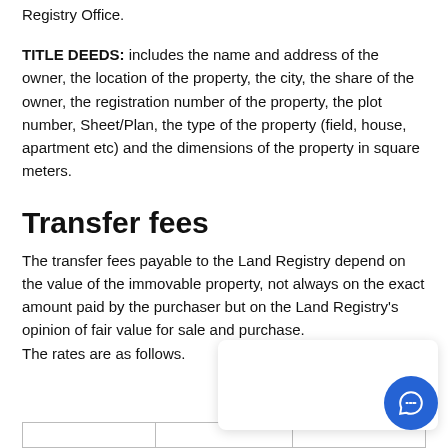Registry Office.
TITLE DEEDS: includes the name and address of the owner, the location of the property, the city, the share of the owner, the registration number of the property, the plot number, Sheet/Plan, the type of the property (field, house, apartment etc) and the dimensions of the property in square meters.
Transfer fees
The transfer fees payable to the Land Registry depend on the value of the immovable property, not always on the exact amount paid by the purchaser but on the Land Registry's opinion of fair value for sale and purchase.
The rates are as follows.
|  |  |  |